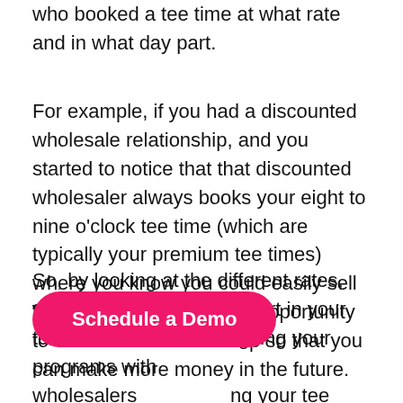who booked a tee time at what rate and in what day part.
For example, if you had a discounted wholesale relationship, and you started to notice that that discounted wholesaler always books your eight to nine o'clock tee time (which are typically your premium tee times) where you know you could easily sell for a rack rate, there's an opportunity to correct that relationship so that you can make more money in the future.
So, by looking at the different rates, where they book by day part in your tee sheet and then designing your programs with wholesalers ng your tee sheet for a higher average dollar per round. Perhaps your
[Figure (other): Pink rounded button with white bold text reading 'Schedule a Demo']